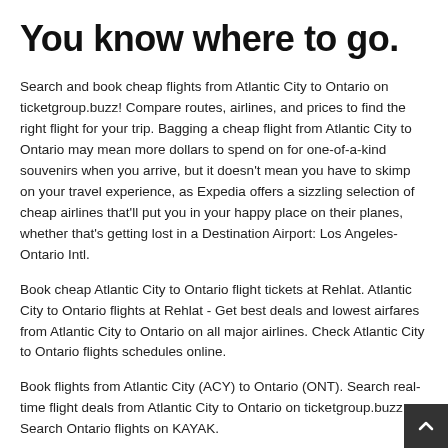You know where to go.
Search and book cheap flights from Atlantic City to Ontario on ticketgroup.buzz! Compare routes, airlines, and prices to find the right flight for your trip. Bagging a cheap flight from Atlantic City to Ontario may mean more dollars to spend on for one-of-a-kind souvenirs when you arrive, but it doesn't mean you have to skimp on your travel experience, as Expedia offers a sizzling selection of cheap airlines that'll put you in your happy place on their planes, whether that's getting lost in a Destination Airport: Los Angeles-Ontario Intl.
Book cheap Atlantic City to Ontario flight tickets at Rehlat. Atlantic City to Ontario flights at Rehlat - Get best deals and lowest airfares from Atlantic City to Ontario on all major airlines. Check Atlantic City to Ontario flights schedules online.
Book flights from Atlantic City (ACY) to Ontario (ONT). Search real-time flight deals from Atlantic City to Ontario on ticketgroup.buzz Search Ontario flights on KAYAK.